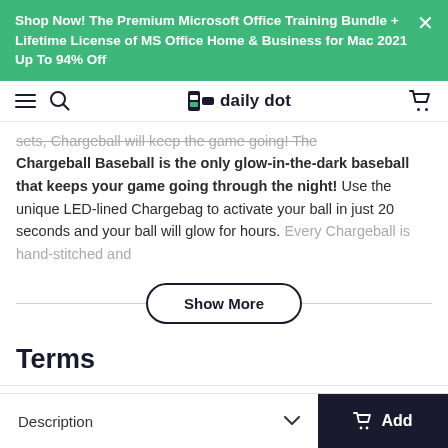Shop Now! The Premium Microsoft Office Training Bundle + Lifetime License of MS Office Home & Business for Mac 2021 Up To 94% Off
[Figure (logo): Daily Dot website navigation bar with hamburger menu, search icon, Daily Dot logo, and cart icon]
sets, Chargeball will keep the game going! The Chargeball Baseball is the only glow-in-the-dark baseball that keeps your game going through the night! Use the unique LED-lined Chargebag to activate your ball in just 20 seconds and your ball will glow for hours. Every Chargeball is hand-stitched and
Show More
Terms
Description